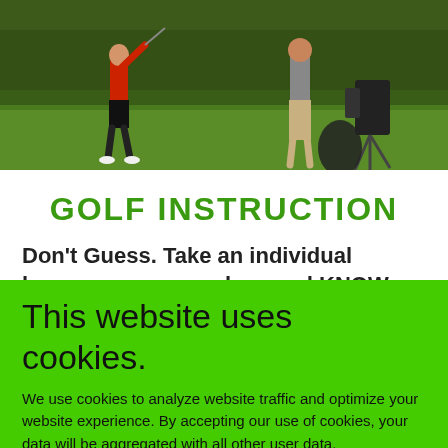[Figure (photo): Golf instruction photo showing a golfer in red shirt swinging a club on a grass course, with another person and camera equipment nearby]
GOLF INSTRUCTION
Don't Guess. Take an individual lesson or a group class and KNOW the correct way
This website uses cookies.
We use cookies to analyze website traffic and optimize your website experience. By accepting our use of cookies, your data will be aggregated with all other user data.